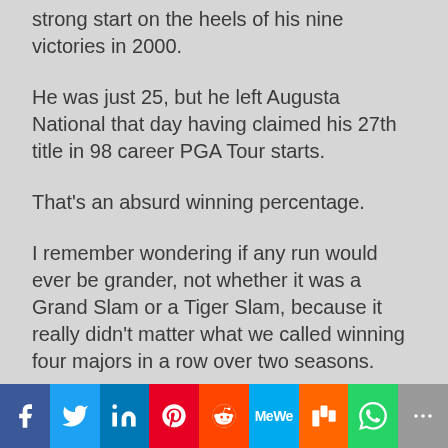strong start on the heels of his nine victories in 2000.
He was just 25, but he left Augusta National that day having claimed his 27th title in 98 career PGA Tour starts.
That's an absurd winning percentage.
I remember wondering if any run would ever be grander, not whether it was a Grand Slam or a Tiger Slam, because it really didn't matter what we called winning four majors in a row over two seasons.
I remember what Augusta National Chairman Hootie Johnson said early in the week about Woods' historic guest:
[Figure (infographic): Social media sharing bar with icons for Facebook, Twitter, LinkedIn, Pinterest, Reddit, MeWe, Mix, WhatsApp, and More]